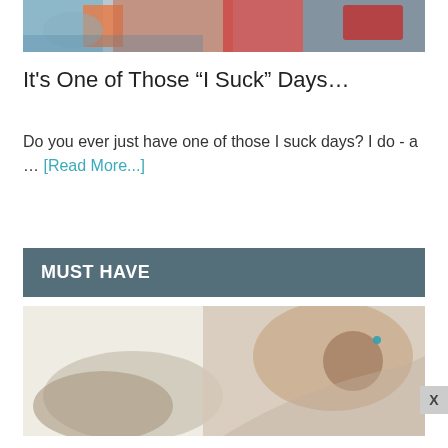[Figure (photo): Top portion of a photo showing children cooking or doing an activity around a stove with a red pot]
It’s One of Those “I Suck” Days…
Do you ever just have one of those I suck days? I do - a … [Read More...]
MUST HAVE
[Figure (photo): Photo of a girl with brown hair in a teal/turquoise hair tie ponytail, leaning over what appears to be an animal or stuffed toy]